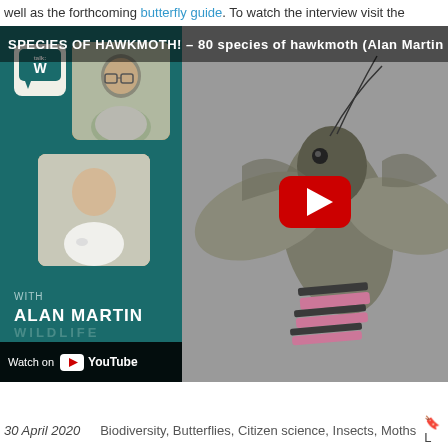well as the forthcoming butterfly guide. To watch the interview visit the
[Figure (screenshot): YouTube video thumbnail showing Alan Martin interview about 80 species of hawkmoth. Left teal panel shows two portrait photos (older men) in orange speech-bubble frames, 'WITH ALAN MARTIN' text, YouTube 'Watch on' bar, and wildlife logo. Right side shows a close-up macro photograph of a hawkmoth with grey/pink markings. Red YouTube play button is overlaid on the moth image. Title bar reads 'SPECIES OF HAWKMOTH! – 80 species of hawkmoth (Alan Martin – REGUA...'.]
30 April 2020    Biodiversity, Butterflies, Citizen science, Insects, Moths    🔖L